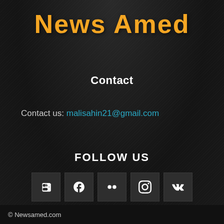News Amed
Contact
Contact us: malisahin21@gmail.com
FOLLOW US
[Figure (infographic): Row of 5 social media icon buttons: Blogger (B), Facebook (f), Flickr (two dots), Instagram (camera/circle), VK (VK logo)]
© Newsamed.com